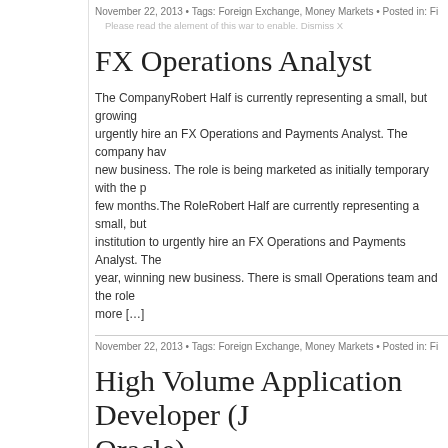November 22, 2013 • Tags: Foreign Exchange, Money Markets • Posted in: Fi
Please read the alement of this war to enable. Dismiss X
FX Operations Analyst
The CompanyRobert Half is currently representing a small, but growing urgently hire an FX Operations and Payments Analyst. The company hav new business. The role is being marketed as initially temporary with the p few months.The RoleRobert Half are currently representing a small, but institution to urgently hire an FX Operations and Payments Analyst. The year, winning new business. There is small Operations team and the role more […]
November 22, 2013 • Tags: Foreign Exchange, Money Markets • Posted in: Fi
High Volume Application Developer (J Oracle)
One of the financial industries leading electronic trading platform teams expert. The focus of this position is a high transaction, time critical and h trading platform. The team is an elite Agile group of Java developers whe is calling the top trading platform to hit the market. Currently they are in platform across multiple asset classes, exploring new technologies and m